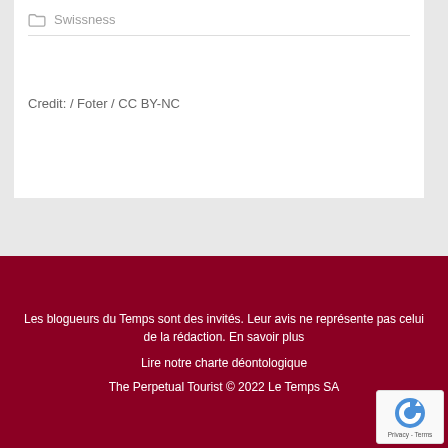Swissness
Credit: / Foter / CC BY-NC
Les blogueurs du Temps sont des invités. Leur avis ne représente pas celui de la rédaction. En savoir plus
Lire notre charte déontologique
The Perpetual Tourist © 2022 Le Temps SA